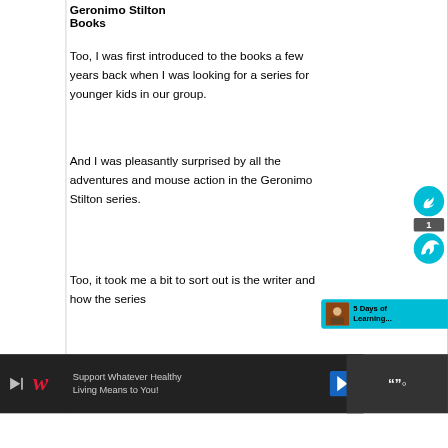Geronimo Stilton Books
Too, I was first introduced to the books a few years back when I was looking for a series for younger kids in our group.
And I was pleasantly surprised by all the adventures and mouse action in the Geronimo Stilton series.
Too, it took me a bit to sort out is the writer and how the series
[Figure (screenshot): Social share sidebar with teal circular icons and a count badge showing 1]
[Figure (screenshot): Promotional banner showing '5 Days of Learning...' with a thumbnail image]
[Figure (screenshot): Advertisement bar: Walgreens 'Support Whatever Healthy Living Means to You!' with navigation arrow and a dark right section]